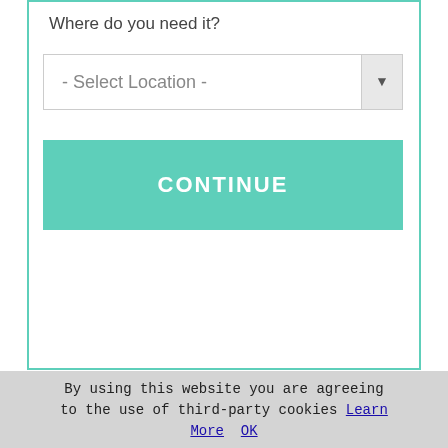Where do you need it?
- Select Location -
CONTINUE
Minehead Loft Boarding
Minehead Mansard Conversions
Minehead Loft Conversions
Minehead Attic Truss Conversions
Minehead Bungalow Loft Conversions
Minehead Home Extensions
Minehead Dormer Conversions
By using this website you are agreeing to the use of third-party cookies Learn More   OK